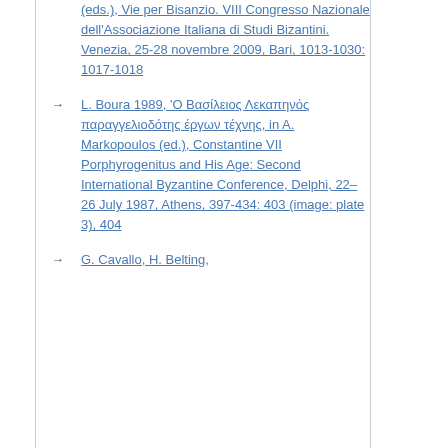(eds.), Vie per Bisanzio. VIII Congresso Nazionale dell'Associazione Italiana di Studi Bizantini. Venezia, 25-28 novembre 2009, Bari, 1013-1030: 1017-1018
L. Boura 1989, 'O Βασίλειος Λεκαπηνός παραγγελιοδότης έργων τέχνης, in A. Markopoulos (ed.), Constantine VII Porphyrogenitus and His Age: Second International Byzantine Conference, Delphi, 22–26 July 1987, Athens, 397-434: 403 (image: plate 3), 404
G. Cavallo, H. Belting,